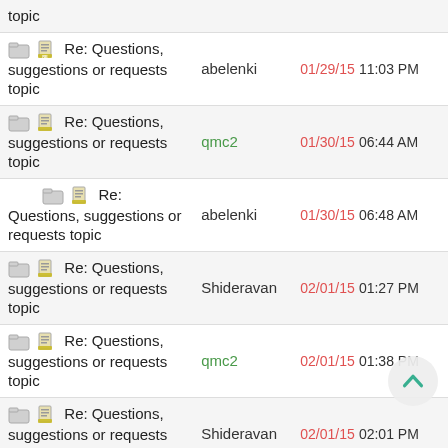| Topic | Author | Date/Time |
| --- | --- | --- |
| Re: Questions, suggestions or requests topic | abelenki | 01/29/15 11:03 PM |
| Re: Questions, suggestions or requests topic | qmc2 | 01/30/15 06:44 AM |
| Re: Questions, suggestions or requests topic | abelenki | 01/30/15 06:48 AM |
| Re: Questions, suggestions or requests topic | Shideravan | 02/01/15 01:27 PM |
| Re: Questions, suggestions or requests topic | qmc2 | 02/01/15 01:38 PM |
| Re: Questions, suggestions or requests topic | Shideravan | 02/01/15 02:01 PM |
| Re: Questions, suggestions or requests topic | qmc2 | 02/01/15 02:40 PM |
| Re: Questions, suggestions or requests topic | Anna Wu | 02/27/15 07:00 AM |
| Re: Questions, suggestions or requests topic | qmc2 | 02/27/15 05:00 PM |